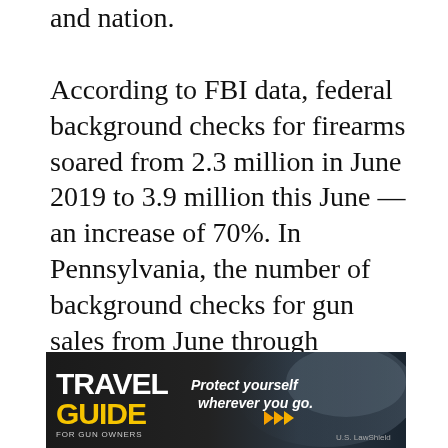and nation.
According to FBI data, federal background checks for firearms soared from 2.3 million in June 2019 to 3.9 million this June — an increase of 70%. In Pennsylvania, the number of background checks for gun sales from June through September was up nearly 100% over the same period last year.
[Figure (other): Advertisement banner for 'Travel Guide for Gun Owners' featuring the text 'Protect yourself wherever you go.' with orange play-button arrows and U.S. LawShield branding, dark background with motion blur imagery.]